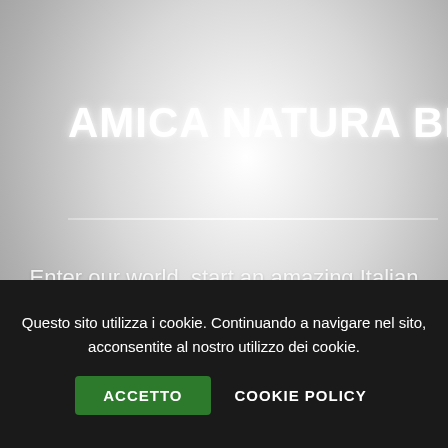AMICA NATURA BLOGGER
Enter our world, start an amazing Italian food journey with us. Follow our Amica Natura food bloggers recipes! Creativity, fantasy, passion for cooking, give life to delicious, healthy and easy recipes to amaze guests, friends and the
Questo sito utilizza i cookie. Continuando a navigare nel sito, acconsentite al nostro utilizzo dei cookie.
ACCETTO
COOKIE POLICY